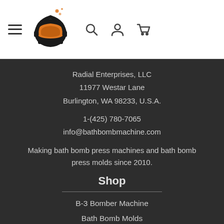[Figure (logo): Bath bomb machine logo with orange robot/helmet icon and bubbles above]
Radial Enterprises, LLC
11977 Westar Lane
Burlington, WA 98233, U.S.A.
1-(425) 780-7065
info@bathbombmachine.com
Making bath bomb press machines and bath bomb press molds since 2010.
Shop
B-3 Bomber Machine
Bath Bomb Molds
Gift Cards